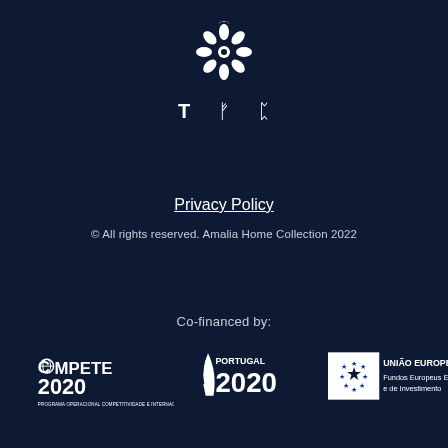[Figure (logo): Decorative floral/ornamental white logo mark centered at top]
[Figure (logo): Social media icons: T (Twitter/X), Instagram, Pinterest]
Privacy Policy
© All rights reserved. Amalia Home Collection 2022
Co-financed by:
[Figure (logo): COMPETE 2020 logo - Programa Operacional Competitividade e Internacionalização, Portugal 2020 logo, União Europeia - Fundos Europeus e de Investimento logo]